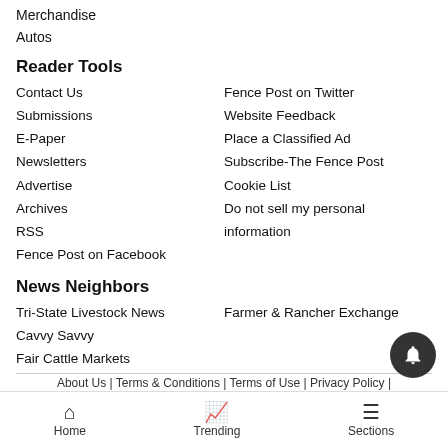Merchandise
Autos
Reader Tools
Contact Us
Fence Post on Twitter
Submissions
Website Feedback
E-Paper
Place a Classified Ad
Newsletters
Subscribe-The Fence Post
Advertise
Cookie List
Archives
Do not sell my personal information
RSS
Fence Post on Facebook
News Neighbors
Tri-State Livestock News
Farmer & Rancher Exchange
Cavvy Savvy
Fair Cattle Markets
About Us | Terms & Conditions | Terms of Use | Privacy Policy |
Home | Trending | Sections